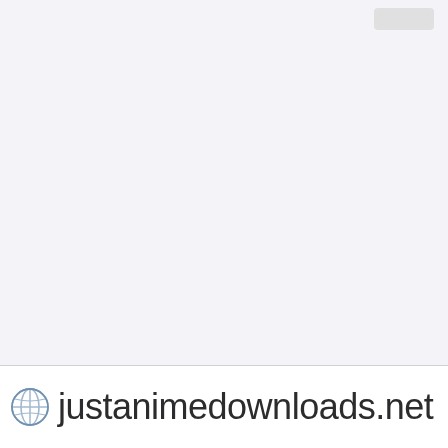[Figure (screenshot): Top-right button element, small grey rounded rectangle]
justanimedownloads.net